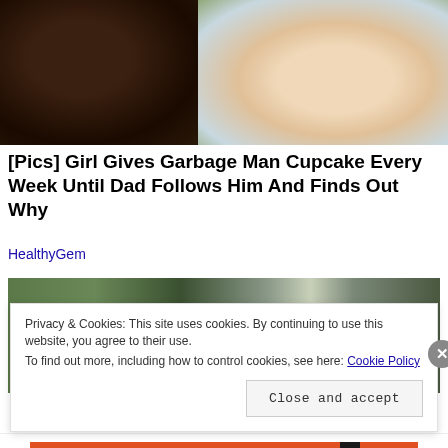[Figure (photo): A smiling man and a young blonde child posing together outdoors]
[Pics] Girl Gives Garbage Man Cupcake Every Week Until Dad Follows Him And Finds Out Why
HealthyGem
[Figure (photo): Two green-skinned figures facing each other (appears to be Hulk characters)]
Privacy & Cookies: This site uses cookies. By continuing to use this website, you agree to their use.
To find out more, including how to control cookies, see here: Cookie Policy
Close and accept